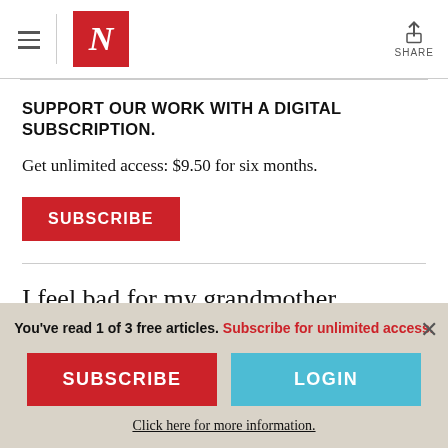N (The Nation logo) | SHARE
SUPPORT OUR WORK WITH A DIGITAL SUBSCRIPTION.
Get unlimited access: $9.50 for six months.
[Figure (other): Red SUBSCRIBE button]
I feel bad for my grandmother sometimes. I
You've read 1 of 3 free articles. Subscribe for unlimited access.
[Figure (other): Red SUBSCRIBE button and blue LOGIN button side by side]
Click here for more information.